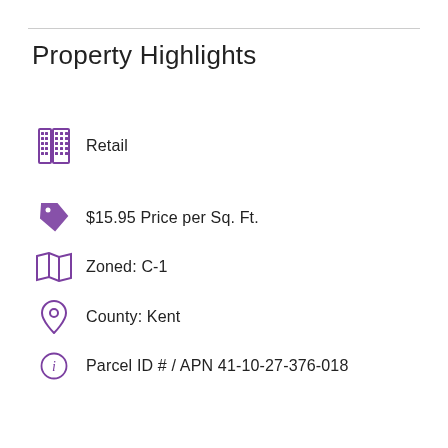Property Highlights
Retail
$15.95 Price per Sq. Ft.
Zoned: C-1
County: Kent
Parcel ID # / APN 41-10-27-376-018